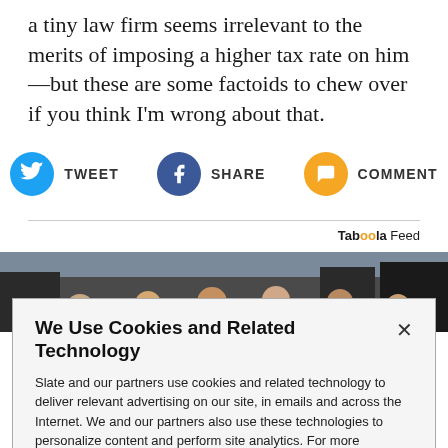a tiny law firm seems irrelevant to the merits of imposing a higher tax rate on him—but these are some factoids to chew over if you think I'm wrong about that.
[Figure (infographic): Social sharing buttons: Tweet (Twitter blue circle), Share (Facebook dark blue circle), Comment (orange circle)]
Taboola Feed
[Figure (photo): Street photo showing a group of people in an urban setting]
We Use Cookies and Related Technology
Slate and our partners use cookies and related technology to deliver relevant advertising on our site, in emails and across the Internet. We and our partners also use these technologies to personalize content and perform site analytics. For more information, see our terms and privacy policy. Privacy Policy
OK